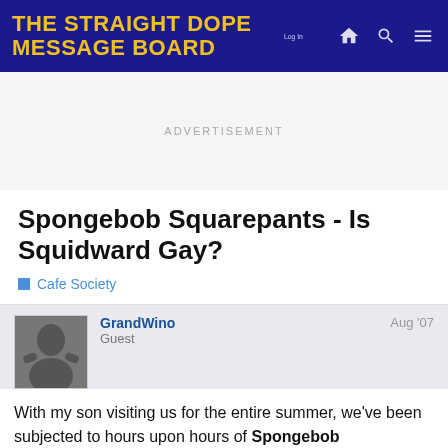THE STRAIGHT DOPE MESSAGE BOARD
ADVERTISEMENT
Spongebob Squarepants - Is Squidward Gay?
Cafe Society
GrandWino
Guest
Aug '07
With my son visiting us for the entire summer, we've been subjected to hours upon hours of Spongebob Squarepants. I really don't mind too much as it's a pretty funny show and it beats a lot of the other crap he could be making me watch.

Anyway, I've always wondered if Squidwar
1 / 56